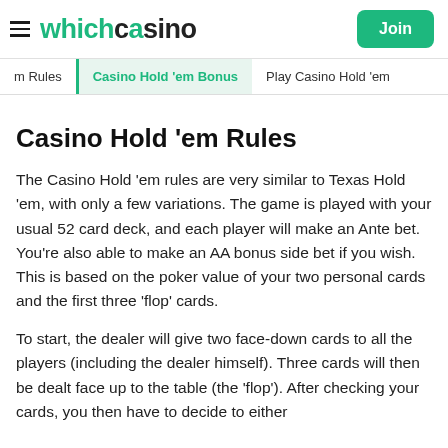whichcasino | Join
Casino Hold 'em Bonus
Casino Hold 'em Rules
The Casino Hold 'em rules are very similar to Texas Hold 'em, with only a few variations. The game is played with your usual 52 card deck, and each player will make an Ante bet. You're also able to make an AA bonus side bet if you wish. This is based on the poker value of your two personal cards and the first three 'flop' cards.
To start, the dealer will give two face-down cards to all the players (including the dealer himself). Three cards will then be dealt face up to the table (the 'flop'). After checking your cards, you then have to decide to either